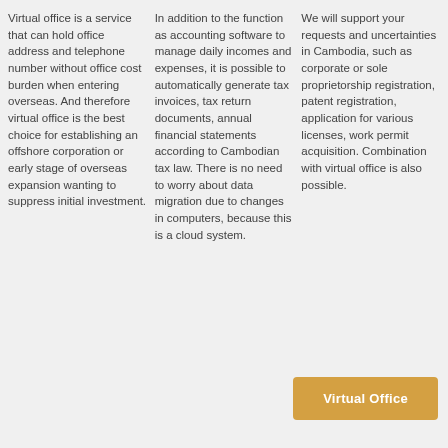Virtual office is a service that can hold office address and telephone number without office cost burden when entering overseas. And therefore virtual office is the best choice for establishing an offshore corporation or early stage of overseas expansion wanting to suppress initial investment.
In addition to the function as accounting software to manage daily incomes and expenses, it is possible to automatically generate tax invoices, tax return documents, annual financial statements according to Cambodian tax law. There is no need to worry about data migration due to changes in computers, because this is a cloud system.
We will support your requests and uncertainties in Cambodia, such as corporate or sole proprietorship registration, patent registration, application for various licenses, work permit acquisition. Combination with virtual office is also possible.
[Figure (other): Orange/golden rounded button labeled 'Virtual Office']